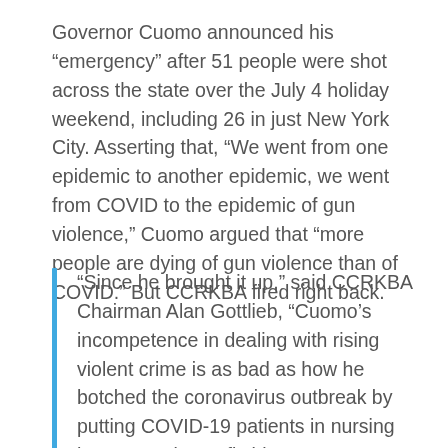Governor Cuomo announced his “emergency” after 51 people were shot across the state over the July 4 holiday weekend, including 26 in just New York City. Asserting that, “We went from one epidemic to another epidemic, we went from COVID to the epidemic of gun violence,” Cuomo argued that “more people are dying of gun violence than of COVID.” But CCRKBA fired right back.
“Since he brought it up,” said CCRKBA Chairman Alan Gottlieb, “Cuomo’s incompetence in dealing with rising violent crime is as bad as how he botched the coronavirus outbreak by putting COVID-19 patients in nursing homes. Trying to fix blame on gun manufacturers and their perfectly legal products when the fault is with his own policies and his party’s soft on criminals